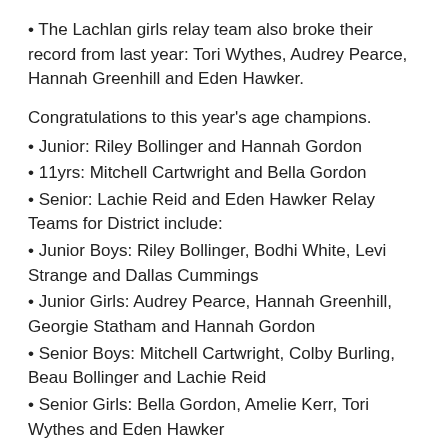• The Lachlan girls relay team also broke their record from last year: Tori Wythes, Audrey Pearce, Hannah Greenhill and Eden Hawker.
Congratulations to this year's age champions.
• Junior: Riley Bollinger and Hannah Gordon
• 11yrs: Mitchell Cartwright and Bella Gordon
• Senior: Lachie Reid and Eden Hawker Relay Teams for District include:
• Junior Boys: Riley Bollinger, Bodhi White, Levi Strange and Dallas Cummings
• Junior Girls: Audrey Pearce, Hannah Greenhill, Georgie Statham and Hannah Gordon
• Senior Boys: Mitchell Cartwright, Colby Burling, Beau Bollinger and Lachie Reid
• Senior Girls: Bella Gordon, Amelie Kerr, Tori Wythes and Eden Hawker